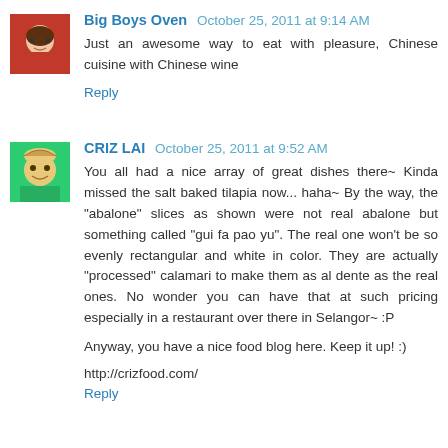Big Boys Oven  October 25, 2011 at 9:14 AM
Just an awesome way to eat with pleasure, Chinese cuisine with Chinese wine
Reply
CRIZ LAI  October 25, 2011 at 9:52 AM
You all had a nice array of great dishes there~ Kinda missed the salt baked tilapia now... haha~ By the way, the "abalone" slices as shown were not real abalone but something called "gui fa pao yu". The real one won't be so evenly rectangular and white in color. They are actually "processed" calamari to make them as al dente as the real ones. No wonder you can have that at such pricing especially in a restaurant over there in Selangor~ :P

Anyway, you have a nice food blog here. Keep it up! :)

http://crizfood.com/
Reply